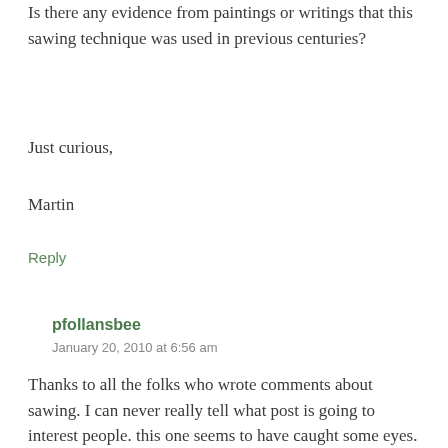Is there any evidence from paintings or writings that this sawing technique was used in previous centuries?
Just curious,
Martin
Reply
pfollansbee
January 20, 2010 at 6:56 am
Thanks to all the folks who wrote comments about sawing. I can never really tell what post is going to interest people. this one seems to have caught some eyes. I have seen Hayward’s book(s) and B. Jones, but must confess I